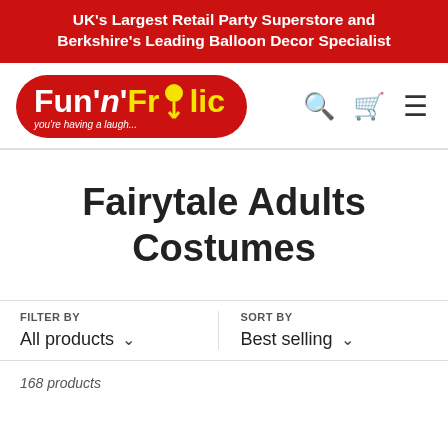UK's Largest Retail Party Superstore and Berkshire's Leading Balloon Decor Specialist
[Figure (logo): Fun 'n' Frolic logo — red pill-shaped background with white Fun, white italic n, yellow Frolic text and tagline 'you're having a laugh...']
Fairytale Adults Costumes
FILTER BY
All products
SORT BY
Best selling
168 products